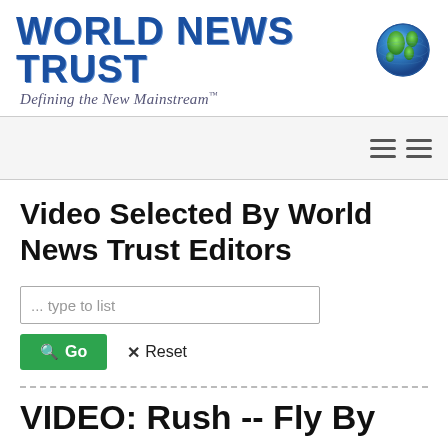[Figure (logo): World News Trust logo with globe graphic and tagline 'Defining the New Mainstream']
[Figure (other): Two hamburger menu icons in navigation bar]
Video Selected By World News Trust Editors
... type to list
Go   Reset
VIDEO: Rush -- Fly By